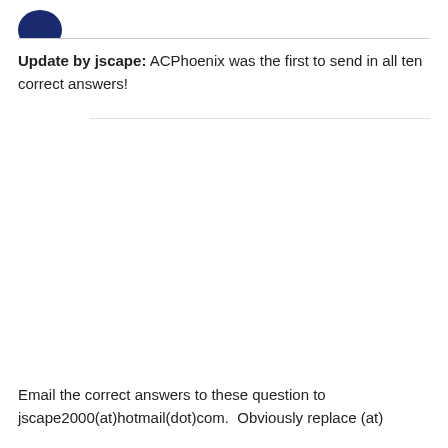[Figure (logo): Partial logo/icon visible at top left, dark blue circular shape]
Update by jscape: ACPhoenix was the first to send in all ten correct answers!
Email the correct answers to these question to jscape2000(at)hotmail(dot)com.  Obviously replace (at)